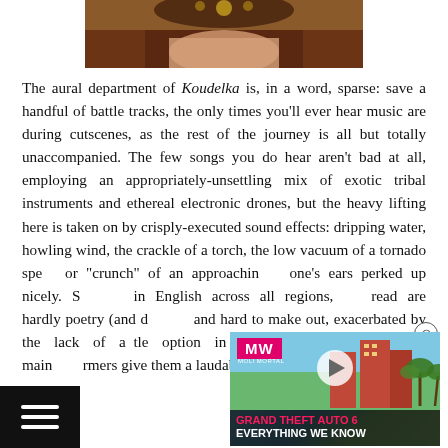[Figure (photo): Partial image of a figure wearing a dark costume with gold leaf/floral headpiece, cropped at top of page]
The aural department of Koudelka is, in a word, sparse: save a handful of battle tracks, the only times you'll ever hear music are during cutscenes, as the rest of the journey is all but totally unaccompanied. The few songs you do hear aren't bad at all, employing an appropriately-unsettling mix of exotic tribal instruments and ethereal electronic drones, but the heavy lifting here is taken on by crisply-executed sound effects: dripping water, howling wind, the crackle of a torch, the low vacuum of a tornado spe... or "crunch" of an approaching... one's ears perked up nicely. S... in English across all regions, ... read are hardly poetry (and d... and hard to make out, exacerbated by the lack of a ...tle option in the Western versions), the main ...rmers give them a laudable effort all around.
[Figure (screenshot): Embedded video ad overlay: MW (Moli Mortal) logo in pink, city skyline with buildings and palm trees, play button, text: GRAND THEFT AUTO 6 EVERYTHING WE KNOW]